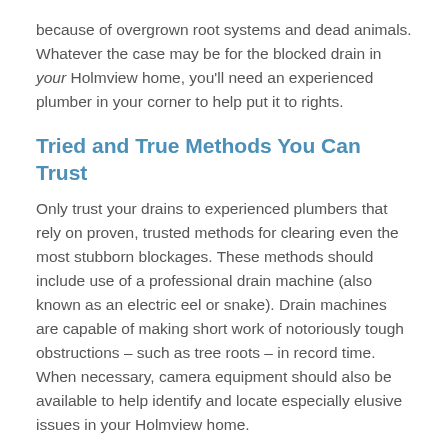because of overgrown root systems and dead animals. Whatever the case may be for the blocked drain in your Holmview home, you'll need an experienced plumber in your corner to help put it to rights.
Tried and True Methods You Can Trust
Only trust your drains to experienced plumbers that rely on proven, trusted methods for clearing even the most stubborn blockages. These methods should include use of a professional drain machine (also known as an electric eel or snake). Drain machines are capable of making short work of notoriously tough obstructions – such as tree roots – in record time. When necessary, camera equipment should also be available to help identify and locate especially elusive issues in your Holmview home.